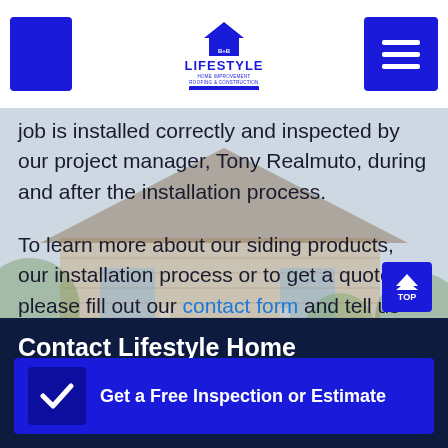Lifestyle Home Improvement Roofing & Construction — Veteran Contractor
job is installed correctly and inspected by our project manager, Tony Realmuto, during and after the installation process.
To learn more about our siding products, our installation process or to get a quote, please fill out our contact form and tell us about your project. We will be in touch with you within 24 hours of your submission of the form.
[Figure (photo): Background photo of a suburban house with siding, trees, and landscaping, shown semi-transparently behind text content]
Contact Lifestyle Home Improvement Roofing & Construction Con...
Get a Free Inspection or Estimate